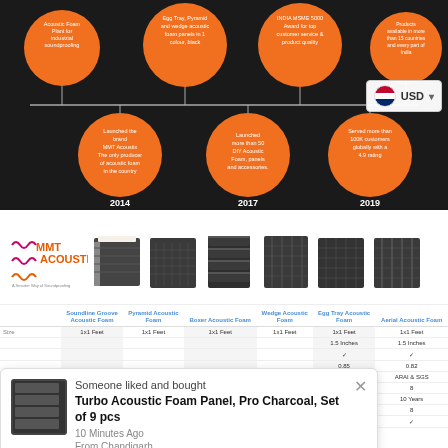[Figure (infographic): Company timeline on dark background showing milestones: 2014 - Launched the brand MMT Acoustix, The only producer of acoustic foam in the country; 2017 - Launched more than 50 DIY Acoustic Foam, panels and accessories; 2019 - Served more than 100K customers globally with a 4.9 rating. Top circles include: Acoustic Foam Plant for industrial soundproofing; Egg Tray, Pyramid and wedge acoustic foam panels in 1 colour, black; INDIA MSME 5000 Award for top customer service & product quality; Products available in more than 15 countries and every part of India.]
[Figure (photo): MMT Acoustix logo with slogan A Smarter Way of Soundproofing, followed by product images of acoustic foam panels: Soundline Groove, Pyramid, Boxer, Wedge, Egg Tray, Aerial]
| Size | Soundline Groove Acoustic Foam | Pyramid Acoustic Foam | Boxer Acoustic Foam | Wedge Acoustic Foam | Egg Tray Acoustic Foam | Aerial Acoustic Foam |
| --- | --- | --- | --- | --- | --- | --- |
| Size | 1x1 Feet | 1x1 Feet | 1x1 Feet | 1x1 Feet | 1x1 Feet | 1x1 Feet |
|  |  |  |  |  | 1.5 Inches | 1.5 Inches |
|  |  |  |  |  | ✓ | ✓ |
|  |  |  |  |  | 0.85 | 0.82 |
|  |  |  |  |  | ARAI & SGS | ARAI & SGS |
|  |  |  |  |  | 8 | 8 |
|  |  |  |  |  | 10 Years | 10 Years |
|  |  |  |  |  | 8 | 8 |
| Noise Reduction | ✓ | ✓ | ✓ | ✓ | ✓ | ✓ |
Someone liked and bought
Turbo Acoustic Foam Panel, Pro Charcoal, Set of 9 pcs
10 Minutes Ago
From Chandigarh